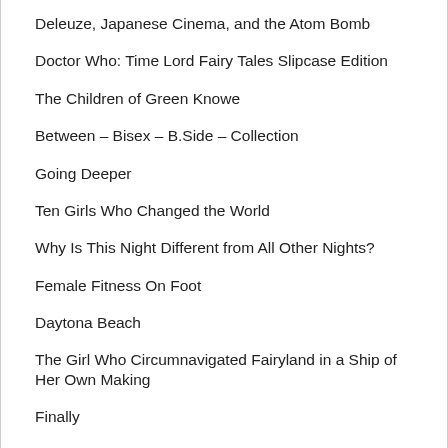Deleuze, Japanese Cinema, and the Atom Bomb
Doctor Who: Time Lord Fairy Tales Slipcase Edition
The Children of Green Knowe
Between – Bisex – B.Side – Collection
Going Deeper
Ten Girls Who Changed the World
Why Is This Night Different from All Other Nights?
Female Fitness On Foot
Daytona Beach
The Girl Who Circumnavigated Fairyland in a Ship of Her Own Making
Finally